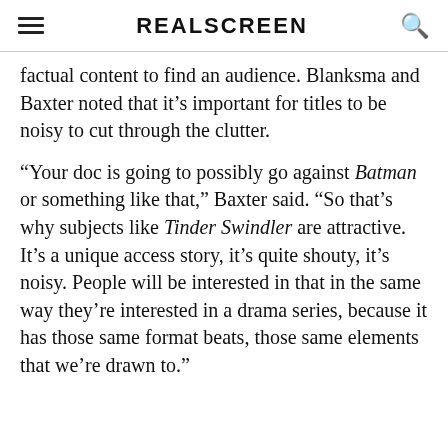REALSCREEN
factual content to find an audience. Blanksma and Baxter noted that it’s important for titles to be noisy to cut through the clutter.
“Your doc is going to possibly go against Batman or something like that,” Baxter said. “So that’s why subjects like Tinder Swindler are attractive. It’s a unique access story, it’s quite shouty, it’s noisy. People will be interested in that in the same way they’re interested in a drama series, because it has those same format beats, those same elements that we’re drawn to.”